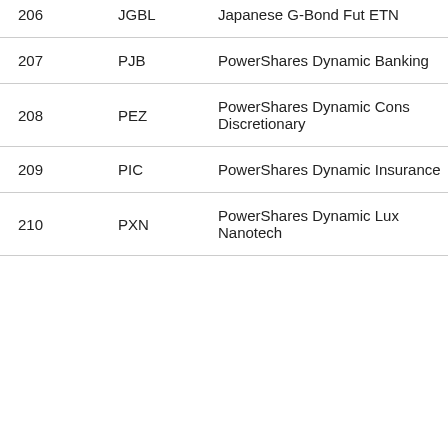| # | Ticker | Name | Value |
| --- | --- | --- | --- |
| 206 | JGBL | Japanese G-Bond Fut ETN | 11 |
| 207 | PJB | PowerShares Dynamic Banking | 66 |
| 208 | PEZ | PowerShares Dynamic Cons Discretionary | 66 |
| 209 | PIC | PowerShares Dynamic Insurance | 77 |
| 210 | PXN | PowerShares Dynamic Lux Nanotech | 77 |